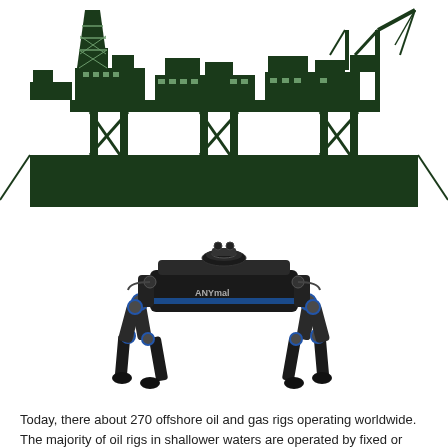[Figure (illustration): Dark green silhouette illustration of an offshore oil and gas platform/rig on water, with cranes, derricks, and structural supports visible against a white background. A solid dark green rectangular block represents the water/base.]
[Figure (photo): Photograph of a four-legged quadruped robot labeled 'ANYmal' (ANYbotics brand), black and blue in color, with articulated legs and various sensors/actuators visible, on a white background.]
Today, there about 270 offshore oil and gas rigs operating worldwide. The majority of oil rigs in shallower waters are operated by fixed or jack-up rigs